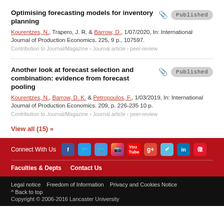Optimising forecasting models for inventory planning
Kourentzes, N., Trapero, J. R. & Barrow, D., 1/07/2020, In: International Journal of Production Economics. 225, 9 p., 107597.
Contribution to Journal/Magazine › Journal article › peer-review
Another look at forecast selection and combination: evidence from forecast pooling
Kourentzes, N., Barrow, D. K. & Petropoulos, F., 1/03/2019, In: International Journal of Production Economics. 209, p. 226-235 10 p.
Contribution to Journal/Magazine › Journal article › peer-review
View all (15) »
Connect With Us | Faculties & Depts | Contact Us | Legal notice | Freedom of Information | Privacy and Cookies Notice | ^ Back to top | Copyright © 2006-2016 Lancaster University